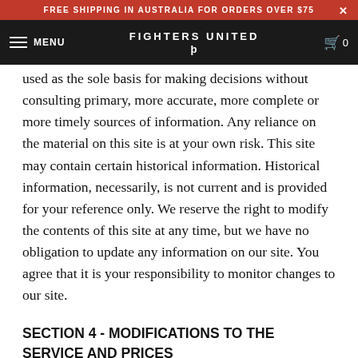FREE SHIPPING IN AUSTRALIA FOR ORDERS OVER $75 ×
MENU | FIGHTERS UNITED FU | 0
used as the sole basis for making decisions without consulting primary, more accurate, more complete or more timely sources of information. Any reliance on the material on this site is at your own risk. This site may contain certain historical information. Historical information, necessarily, is not current and is provided for your reference only. We reserve the right to modify the contents of this site at any time, but we have no obligation to update any information on our site. You agree that it is your responsibility to monitor changes to our site.
SECTION 4 - MODIFICATIONS TO THE SERVICE AND PRICES
Prices for our products are subject to change without